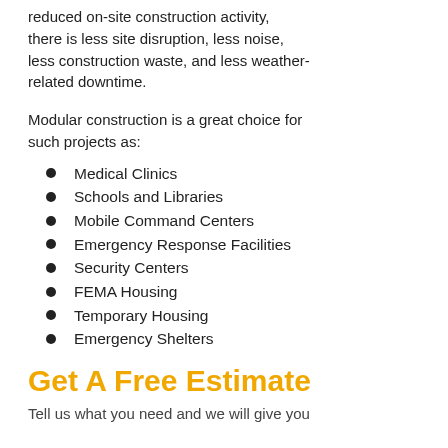reduced on-site construction activity, there is less site disruption, less noise, less construction waste, and less weather-related downtime.
Modular construction is a great choice for such projects as:
Medical Clinics
Schools and Libraries
Mobile Command Centers
Emergency Response Facilities
Security Centers
FEMA Housing
Temporary Housing
Emergency Shelters
Get A Free Estimate
Tell us what you need and we will give you